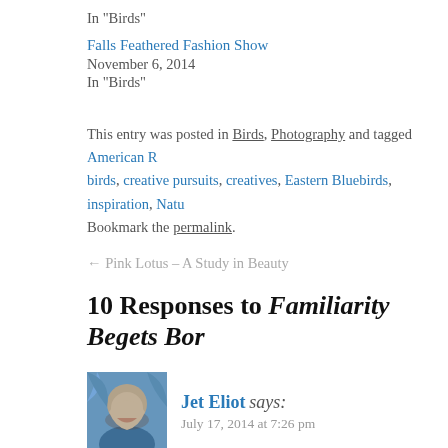In "Birds"
Falls Feathered Fashion Show
November 6, 2014
In "Birds"
This entry was posted in Birds, Photography and tagged American R birds, creative pursuits, creatives, Eastern Bluebirds, inspiration, Natu Bookmark the permalink.
← Pink Lotus – A Study in Beauty
10 Responses to Familiarity Begets Bor
Jet Eliot says:
July 17, 2014 at 7:26 pm
Thank you for the reminder that every nu
Reply